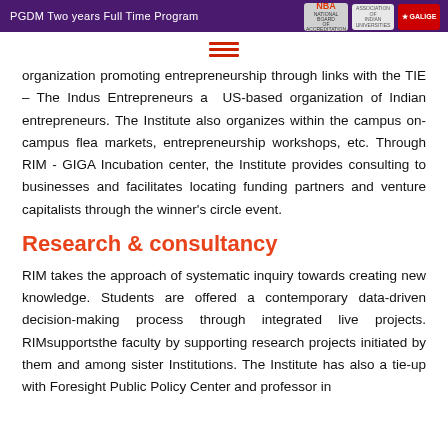PGDM Two years Full Time Program
organization promoting entrepreneurship through links with the TIE – The Indus Entrepreneurs a US-based organization of Indian entrepreneurs. The Institute also organizes within the campus on-campus flea markets, entrepreneurship workshops, etc. Through RIM - GIGA Incubation center, the Institute provides consulting to businesses and facilitates locating funding partners and venture capitalists through the winner's circle event.
Research & consultancy
RIM takes the approach of systematic inquiry towards creating new knowledge. Students are offered a contemporary data-driven decision-making process through integrated live projects. RIMsupportsthe faculty by supporting research projects initiated by them and among sister Institutions. The Institute has also a tie-up with Foresight Public Policy Center and professor in